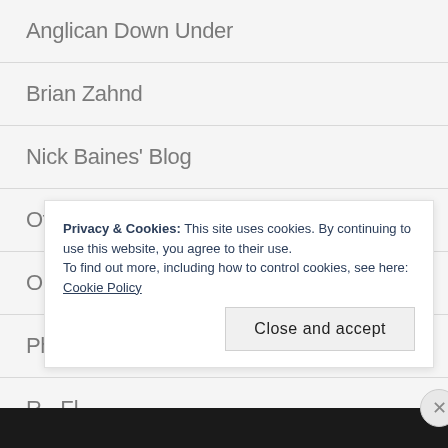Anglican Down Under
Brian Zahnd
Nick Baines' Blog
Of Course, I Could Be Wrong
Opinionated Vicar
Philip Yancey's blog
R...Fl...
Privacy & Cookies: This site uses cookies. By continuing to use this website, you agree to their use.
To find out more, including how to control cookies, see here: Cookie Policy
Close and accept